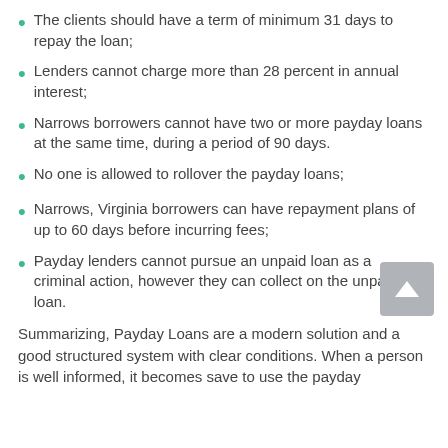The clients should have a term of minimum 31 days to repay the loan;
Lenders cannot charge more than 28 percent in annual interest;
Narrows borrowers cannot have two or more payday loans at the same time, during a period of 90 days.
No one is allowed to rollover the payday loans;
Narrows, Virginia borrowers can have repayment plans of up to 60 days before incurring fees;
Payday lenders cannot pursue an unpaid loan as a criminal action, however they can collect on the unpaid loan.
Summarizing, Payday Loans are a modern solution and a good structured system with clear conditions. When a person is well informed, it becomes save to use the payday